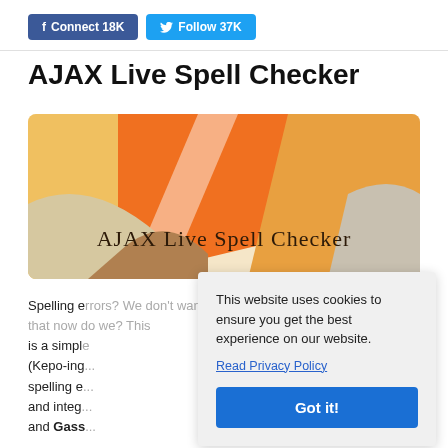f Connect 18K   Follow 37K
AJAX Live Spell Checker
[Figure (illustration): Decorative banner with orange and tan geometric shapes and text 'AJAX Live Spell Checker' in serif font]
Spelling errors? We don't want that now do we? This is a simpl... (Kepo-ing... spelling e... and integ... and Gass...
This website uses cookies to ensure you get the best experience on our website.
Read Privacy Policy
Got it!